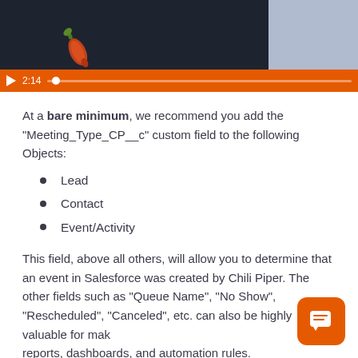[Figure (screenshot): Video player screenshot showing a dark background with a chili pepper icon/logo, orange progress bar at bottom with play button and timestamp 2:14]
At a bare minimum, we recommend you add the "Meeting_Type_CP__c" custom field to the following Objects:
Lead
Contact
Event/Activity
This field, above all others, will allow you to determine that an event in Salesforce was created by Chili Piper. The other fields such as "Queue Name", "No Show", "Rescheduled", "Canceled", etc. can also be highly valuable for making reports, dashboards, and automation rules.
Here is a complete list of fields that you can create. It's really